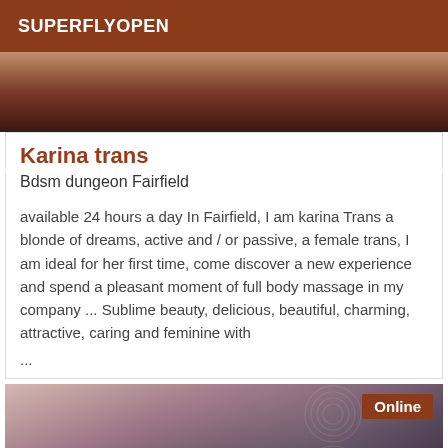SUPERFLYOPEN
[Figure (photo): Top photo partially visible, warm toned background]
Karina trans
Bdsm dungeon Fairfield
available 24 hours a day In Fairfield, I am karina Trans a blonde of dreams, active and / or passive, a female trans, I am ideal for her first time, come discover a new experience and spend a pleasant moment of full body massage in my company ... Sublime beauty, delicious, beautiful, charming, attractive, caring and feminine with
...
[Figure (photo): Bottom photo of a woman with dark hair, with Online badge in top right corner]